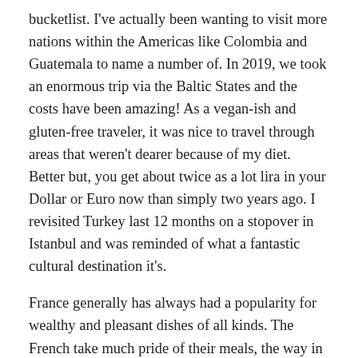bucketlist. I've actually been wanting to visit more nations within the Americas like Colombia and Guatemala to name a number of. In 2019, we took an enormous trip via the Baltic States and the costs have been amazing! As a vegan-ish and gluten-free traveler, it was nice to travel through areas that weren't dearer because of my diet. Better but, you get about twice as a lot lira in your Dollar or Euro now than simply two years ago. I revisited Turkey last 12 months on a stopover in Istanbul and was reminded of what a fantastic cultural destination it's.
France generally has always had a popularity for wealthy and pleasant dishes of all kinds. The French take much pride of their meals, the way in which it's prepared, the way in which it's paired and the best way it is delivered. No matter the place you go in Paris the food will maintain a smile in your tummy. Of course no one should visit Paris and not using a journey to the Eiffel Tower, the Arc de Triomphe and the world-famous Louvre.